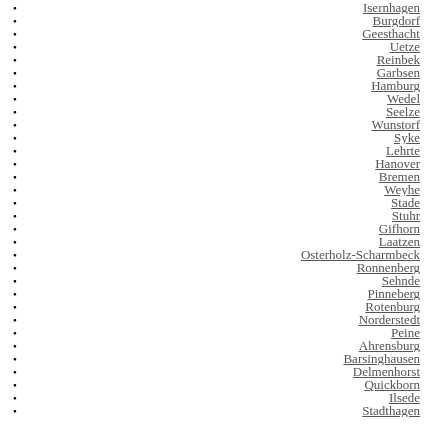Isernhagen
Burgdorf
Geesthacht
Uetze
Reinbek
Garbsen
Hamburg
Wedel
Seelze
Wunstorf
Syke
Lehrte
Hanover
Bremen
Weyhe
Stade
Stuhr
Gifhorn
Laatzen
Osterholz-Scharmbeck
Ronnenberg
Sehnde
Pinneberg
Rotenburg
Norderstedt
Peine
Ahrensburg
Barsinghausen
Delmenhorst
Quickborn
Ilsede
Stadthagen